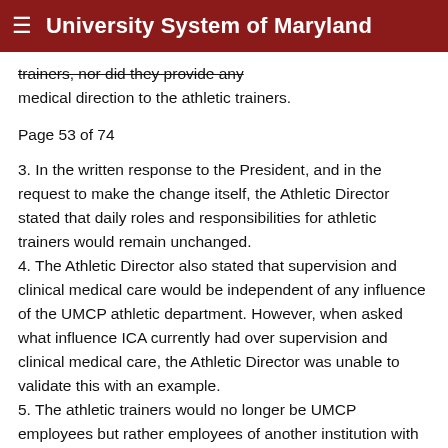≡ University System of Maryland
trainers, nor did they provide any medical direction to the athletic trainers.
Page 53 of 74
3. In the written response to the President, and in the request to make the change itself, the Athletic Director stated that daily roles and responsibilities for athletic trainers would remain unchanged.
4. The Athletic Director also stated that supervision and clinical medical care would be independent of any influence of the UMCP athletic department. However, when asked what influence ICA currently had over supervision and clinical medical care, the Athletic Director was unable to validate this with an example.
5. The athletic trainers would no longer be UMCP employees but rather employees of another institution with different fiscal year calendars and possible benefits. Nothing had been discussed with the athletic...